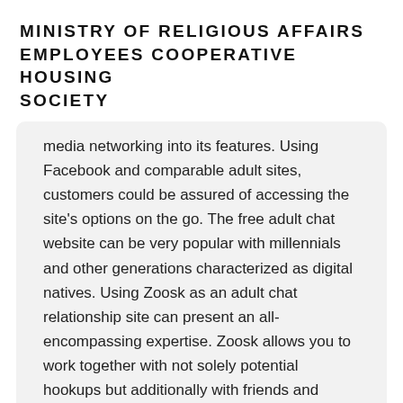MINISTRY OF RELIGIOUS AFFAIRS EMPLOYEES COOPERATIVE HOUSING SOCIETY
media networking into its features. Using Facebook and comparable adult sites, customers could be assured of accessing the site's options on the go. The free adult chat website can be very popular with millennials and other generations characterized as digital natives. Using Zoosk as an adult chat relationship site can present an all-encompassing expertise. Zoosk allows you to work together with not solely potential hookups but additionally with friends and family in the identical place.
no tag